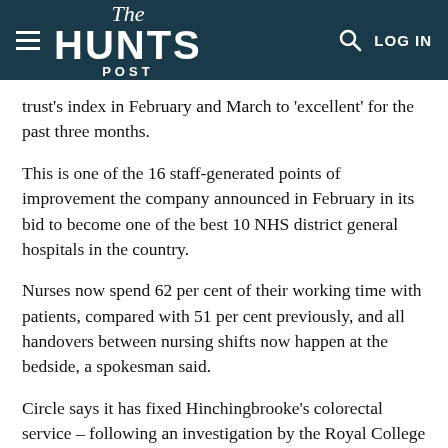The HUNTS POST
trust's index in February and March to 'excellent' for the past three months.
This is one of the 16 staff-generated points of improvement the company announced in February in its bid to become one of the best 10 NHS district general hospitals in the country.
Nurses now spend 62 per cent of their working time with patients, compared with 51 per cent previously, and all handovers between nursing shifts now happen at the bedside, a spokesman said.
Circle says it has fixed Hinchingbrooke's colorectal service – following an investigation by the Royal College of Surgeons into death the Cambridgeshire Coroner said might have been preventable – and